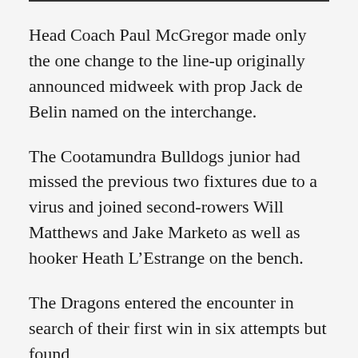Head Coach Paul McGregor made only the one change to the line-up originally announced midweek with prop Jack de Belin named on the interchange.
The Cootamundra Bulldogs junior had missed the previous two fixtures due to a virus and joined second-rowers Will Matthews and Jake Marketo as well as hooker Heath L’Estrange on the bench.
The Dragons entered the encounter in search of their first win in six attempts but found themselves willing on their first score when